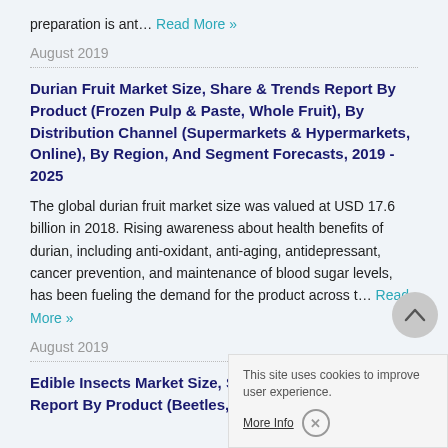preparation is ant… Read More »
August 2019
Durian Fruit Market Size, Share & Trends Report By Product (Frozen Pulp & Paste, Whole Fruit), By Distribution Channel (Supermarkets & Hypermarkets, Online), By Region, And Segment Forecasts, 2019 - 2025
The global durian fruit market size was valued at USD 17.6 billion in 2018. Rising awareness about health benefits of durian, including anti-oxidant, anti-aging, antidepressant, cancer prevention, and maintenance of blood sugar levels, has been fueling the demand for the product across t… Read More »
August 2019
Edible Insects Market Size, S… Report By Product (Beetles, Cricket), By Application